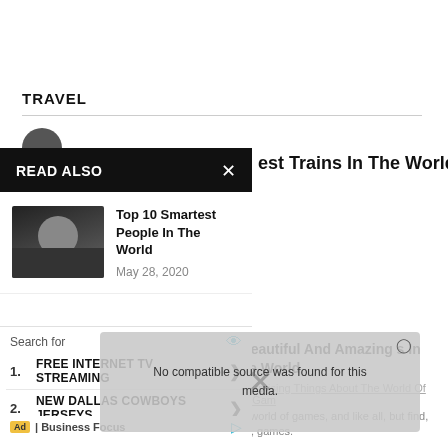TRAVEL
[Figure (screenshot): READ ALSO panel with two article cards: 'Top 10 Smartest People In The World' (May 28, 2020) and 'Top 10 Most Highest Paid Employees In...' (January 14, 2022). Close button (X) visible.]
est Trains In The World
Top 10 Smartest People In The World
May 28, 2020
Top 10 Most Highest Paid Employees In...
January 14, 2022
[Figure (screenshot): Video error overlay: 'No compatible source was found for this media.' with X close button and eye icon]
t Beautiful And Amazing s In The World
5 Surprising Things About The World Of Pro Gam the world of games, and like all, but find well, games.
[Figure (screenshot): Ad panel with search items: 1. FREE INTERNET TV STREAMING, 2. NEW DALLAS COWBOYS JERSEYS. Business Focus ad label.]
Search for
1. FREE INTERNET TV STREAMING
2. NEW DALLAS COWBOYS JERSEYS
Ad | Business Focus